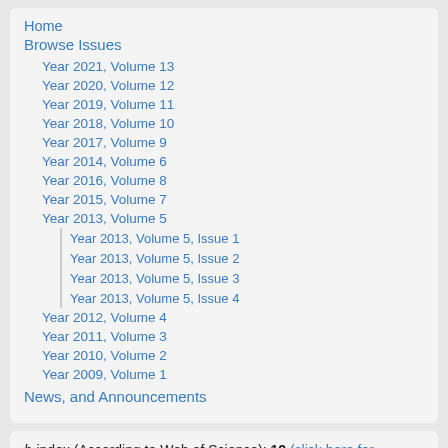Home
Browse Issues
Year 2021, Volume 13
Year 2020, Volume 12
Year 2019, Volume 11
Year 2018, Volume 10
Year 2017, Volume 9
Year 2014, Volume 6
Year 2016, Volume 8
Year 2015, Volume 7
Year 2013, Volume 5
Year 2013, Volume 5, Issue 1
Year 2013, Volume 5, Issue 2
Year 2013, Volume 5, Issue 3
Year 2013, Volume 5, Issue 4
Year 2012, Volume 4
Year 2011, Volume 3
Year 2010, Volume 2
Year 2009, Volume 1
News, and Announcements
h-index (According to Web of Science): 12 (click here for